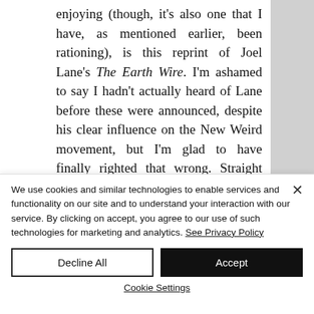enjoying (though, it's also one that I have, as mentioned earlier, been rationing), is this reprint of Joel Lane's The Earth Wire. I'm ashamed to say I hadn't actually heard of Lane before these were announced, despite his clear influence on the New Weird movement, but I'm glad to have finally righted that wrong. Straight from the
We use cookies and similar technologies to enable services and functionality on our site and to understand your interaction with our service. By clicking on accept, you agree to our use of such technologies for marketing and analytics. See Privacy Policy
Decline All
Accept
Cookie Settings